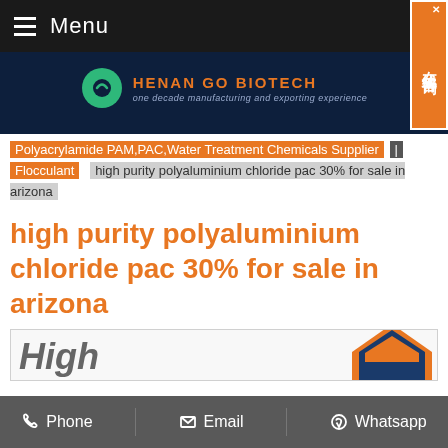Menu
[Figure (logo): Henan Go Biotech logo with green circle and orange brand text, tagline: one decade manufacturing and exporting experience]
Polyacrylamide PAM,PAC,Water Treatment Chemicals Supplier | Flocculant > high purity polyaluminium chloride pac 30% for sale in arizona
high purity polyaluminium chloride pac 30% for sale in arizona
Phone   Email   Whatsapp